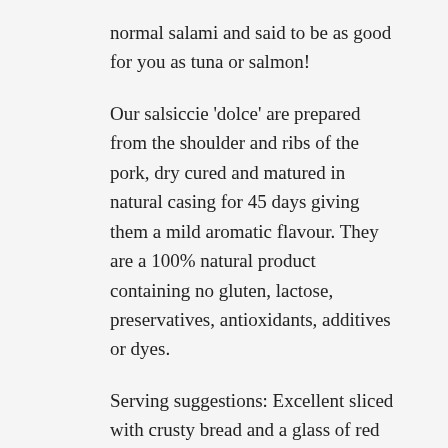normal salami and said to be as good for you as tuna or salmon!
Our salsiccie 'dolce' are prepared from the shoulder and ribs of the pork, dry cured and matured in natural casing for 45 days giving them a mild aromatic flavour. They are a 100% natural product containing no gluten, lactose, preservatives, antioxidants, additives or dyes.
Serving suggestions: Excellent sliced with crusty bread and a glass of red wine! Can also be used to make pasta sauces, added to soups or sliced on a pizza.
**Winner** Best Mediterranean Salame 2017
Keep refrigerated (below 10 degrees)